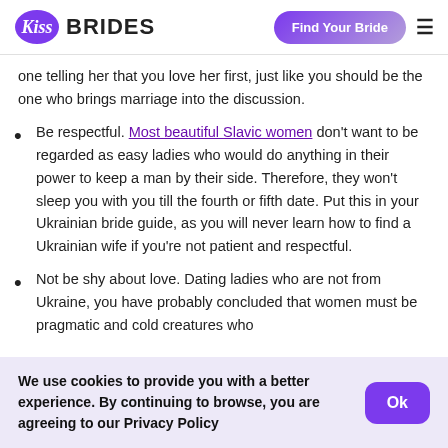Kiss Brides — Find Your Bride
one telling her that you love her first, just like you should be the one who brings marriage into the discussion.
Be respectful. Most beautiful Slavic women don't want to be regarded as easy ladies who would do anything in their power to keep a man by their side. Therefore, they won't sleep you with you till the fourth or fifth date. Put this in your Ukrainian bride guide, as you will never learn how to find a Ukrainian wife if you're not patient and respectful.
Not be shy about love. Dating ladies who are not from Ukraine, you have probably concluded that women must be pragmatic and cold creatures who
We use cookies to provide you with a better experience. By continuing to browse, you are agreeing to our Privacy Policy